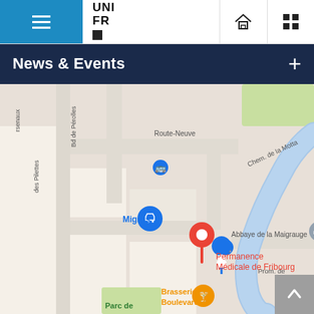UNI FR [logo] — hamburger menu, home icon, grid icon
News & Events
[Figure (map): Google Maps screenshot showing area around Permanence Médicale de Fribourg, with streets Route-Neuve, Bd de Pérolles, Chem. de la Motta, Prom. de, des Pilettes, rsenaux; landmarks: Migros, Abbaye de la Maigrauge, Brasserie Le Boulevard 39, Parc de; a river curving through the center-right; map pins for Permanence Médicale de Fribourg (red), Migros (blue), a blue lock/shopping pin, two blue bus icons, an orange/yellow bar pin for Brasserie Le Boulevard 39]